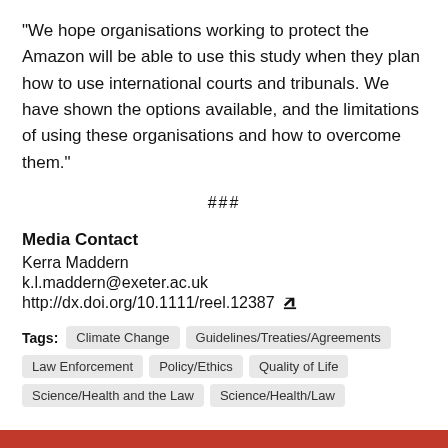“We hope organisations working to protect the Amazon will be able to use this study when they plan how to use international courts and tribunals. We have shown the options available, and the limitations of using these organisations and how to overcome them.”
###
Media Contact
Kerra Maddern
k.l.maddern@exeter.ac.uk
http://dx.doi.org/10.1111/reel.12387
Tags: Climate Change   Guidelines/Treaties/Agreements   Law Enforcement   Policy/Ethics   Quality of Life   Science/Health and the Law   Science/Health/Law